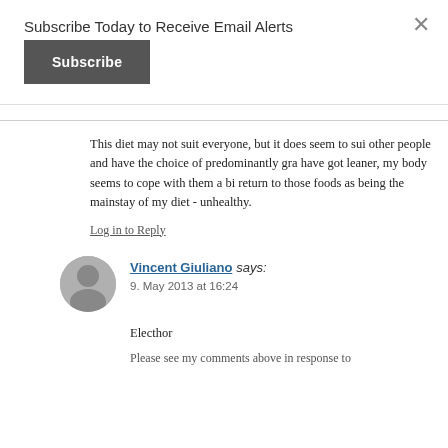Subscribe Today to Receive Email Alerts
Subscribe
×
This diet may not suit everyone, but it does seem to sui other people and have the choice of predominantly gra have got leaner, my body seems to cope with them a bi return to those foods as being the mainstay of my diet - unhealthy.
Log in to Reply
Vincent Giuliano says:
9. May 2013 at 16:24
Electhor
Please see my comments above in response to